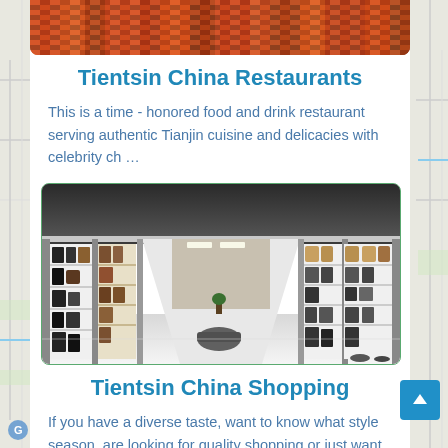[Figure (photo): Cropped top portion of a colorful mosaic or textile pattern with warm reds, oranges, and browns]
Tientsin China Restaurants
This is a time - honored food and drink restaurant serving authentic Tianjin cuisine and delicacies with celebrity ch …
[Figure (photo): Interior of a modern shoe and handbag retail store with glass display walls, shelves of boots and bags on both sides, and a long well-lit corridor]
Tientsin China Shopping
If you have a diverse taste, want to know what style season, are looking for quality shopping or just want to b